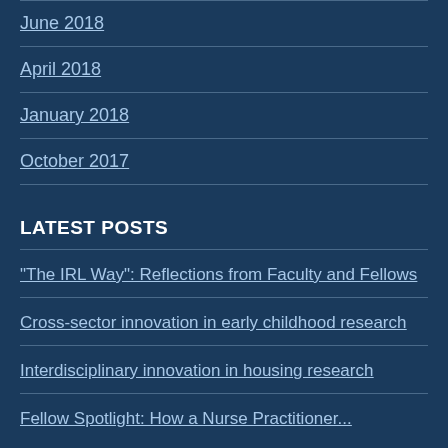June 2018
April 2018
January 2018
October 2017
LATEST POSTS
"The IRL Way": Reflections from Faculty and Fellows
Cross-sector innovation in early childhood research
Interdisciplinary innovation in housing research
Fellow Spotlight: How a Nurse Practitioner...